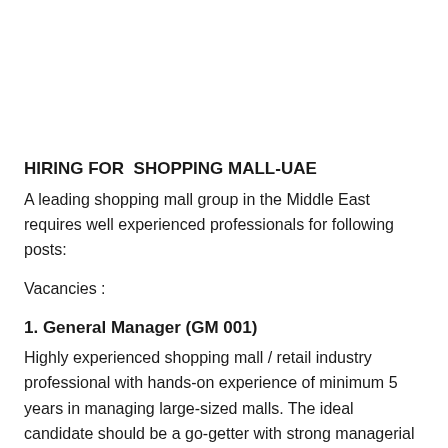HIRING FOR  SHOPPING MALL-UAE
A leading shopping mall group in the Middle East requires well experienced professionals for following posts:
Vacancies :
1. General Manager (GM 001)
Highly experienced shopping mall / retail industry professional with hands-on experience of minimum 5 years in managing large-sized malls. The ideal candidate should be a go-getter with strong managerial experience and organizational skills in all business aspects, from setting operational structures to human resources,